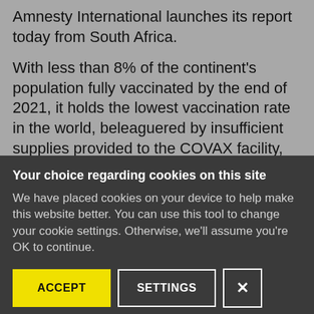Amnesty International launches its report today from South Africa.
With less than 8% of the continent's population fully vaccinated by the end of 2021, it holds the lowest vaccination rate in the world, beleaguered by insufficient supplies provided to the COVAX facility, the Africa Vaccine Acquisition Trust and
Your choice regarding cookies on this site
We have placed cookies on your device to help make this website better. You can use this tool to change your cookie settings. Otherwise, we'll assume you're OK to continue.